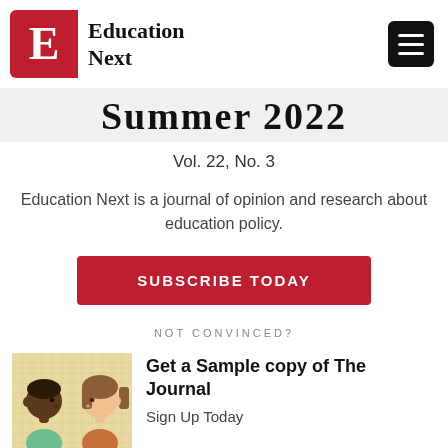Education Next
Summer 2022
Vol. 22, No. 3
Education Next is a journal of opinion and research about education policy.
SUBSCRIBE TODAY
NOT CONVINCED?
[Figure (illustration): Two children illustrated in profile facing each other — one with dark skin and short hair wearing a green shirt, one with light skin and a bob haircut wearing an orange shirt, against a yellow grid background.]
Get a Sample copy of The Journal
Sign Up Today